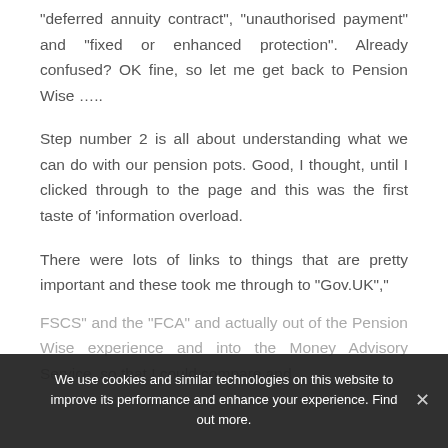“deferred annuity contract”, “unauthorised payment” and “fixed or enhanced protection”. Already confused? OK fine, so let me get back to Pension Wise ….
Step number 2 is all about understanding what we can do with our pension pots. Good, I thought, until I clicked through to the page and this was the first taste of ‘information overload.
There were lots of links to things that are pretty important and these took me through to “Gov.UK”,” FSCS” and the “FCA” and actually out of the Pension Wise experience and into the Money Advisory Service, so that I could compare and…
We use cookies and similar technologies on this website to improve its performance and enhance your experience. Find out more.